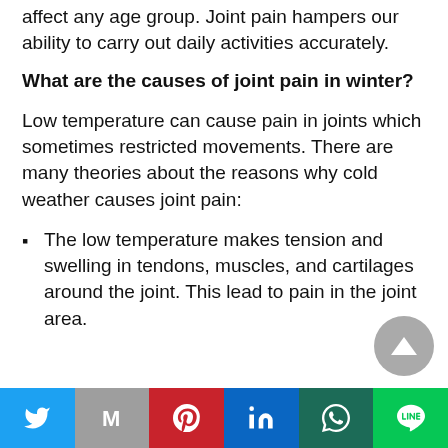affect any age group. Joint pain hampers our ability to carry out daily activities accurately.
What are the causes of joint pain in winter?
Low temperature can cause pain in joints which sometimes restricted movements. There are many theories about the reasons why cold weather causes joint pain:
The low temperature makes tension and swelling in tendons, muscles, and cartilages around the joint. This lead to pain in the joint area.